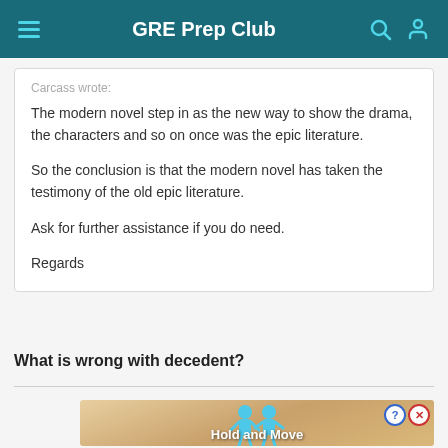GRE Prep Club
Carcass wrote:
The modern novel step in as the new way to show the drama, the characters and so on once was the epic literature.

So the conclusion is that the modern novel has taken the testimony of the old epic literature.

Ask for further assistance if you do need.

Regards
What is wrong with decedent?
[Figure (screenshot): Advertisement banner showing game 'Hold and Move' with cartoon characters and close/help buttons]